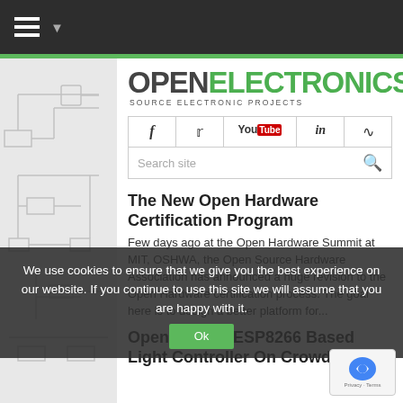Open Electronics — navigation bar
[Figure (logo): OPEN ELECTRONICS logo with tagline SOURCE ELECTRONIC PROJECTS]
[Figure (infographic): Social media icons bar: Facebook, Twitter, YouTube, LinkedIn, RSS feed]
The New Open Hardware Certification Program
Few days ago at the Open Hardware Summit at MIT, OSHWA, the Open Source Hardware Association has announced a huge revision to the Open Hardware certification process. The goal here is to design a better platform for...
Open Source ESP8266 Based Light Controller On CrowdSupply
We use cookies to ensure that we give you the best experience on our website. If you continue to use this site we will assume that you are happy with it.